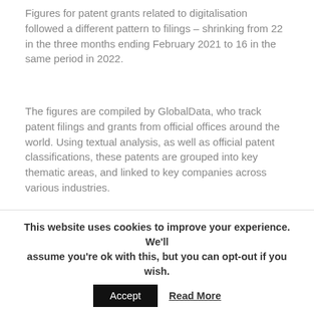Figures for patent grants related to digitalisation followed a different pattern to filings – shrinking from 22 in the three months ending February 2021 to 16 in the same period in 2022.
The figures are compiled by GlobalData, who track patent filings and grants from official offices around the world. Using textual analysis, as well as official patent classifications, these patents are grouped into key thematic areas, and linked to key companies across various industries.
https://www.railway-technology.com/analysis/railway-industry-companies-are-increasingly-innovating-in-digitalization/
Transport for West Midlands (TfWM) has appointed construction firm VolkerFitzpatrick to build three railway stations on the Camp Hill line in south Birmingham.
This website uses cookies to improve your experience. We'll assume you're ok with this, but you can opt-out if you wish. Accept Read More